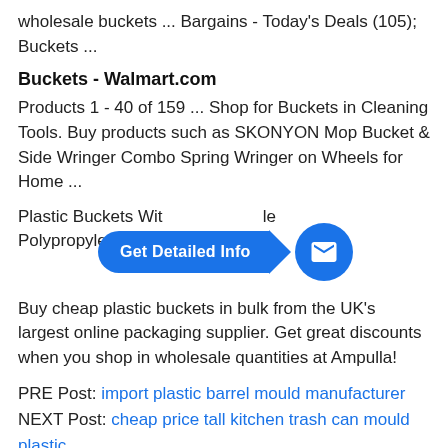wholesale buckets ... Bargains - Today's Deals (105); Buckets ...
Buckets - Walmart.com
Products 1 - 40 of 159 ... Shop for Buckets in Cleaning Tools. Buy products such as SKONYON Mop Bucket & Side Wringer Combo Spring Wringer on Wheels for Home ...
Plastic Buckets With Lid | Find Sample Polypropylene (PP)...
[Figure (infographic): Blue pill-shaped 'Get Detailed Info' button with arrow pointing to a blue circle with envelope/mail icon]
Buy cheap plastic buckets in bulk from the UK's largest online packaging supplier. Get great discounts when you shop in wholesale quantities at Ampulla!
PRE Post: import plastic barrel mould manufacturer
NEXT Post: cheap price tall kitchen trash can mould plastic